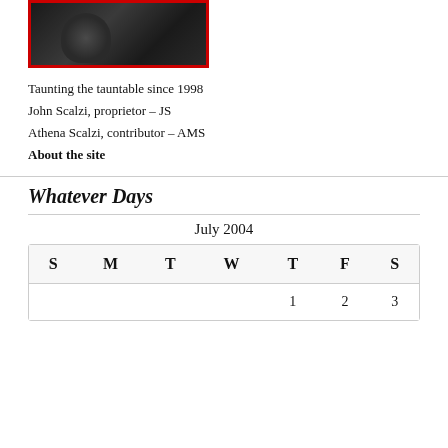[Figure (photo): Black and white photo of a person in a dark suit with a red border frame]
Taunting the tauntable since 1998
John Scalzi, proprietor – JS
Athena Scalzi, contributor – AMS
About the site
Whatever Days
July 2004
| S | M | T | W | T | F | S |
| --- | --- | --- | --- | --- | --- | --- |
|  |  |  |  | 1 | 2 | 3 |